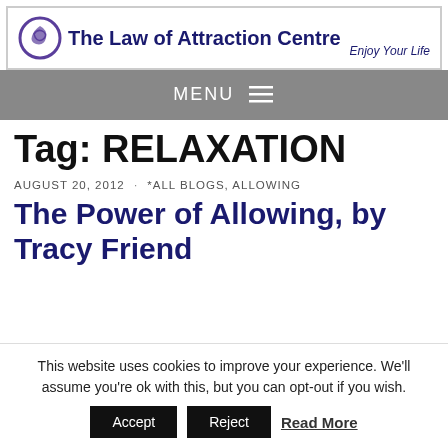The Law of Attraction Centre — Enjoy Your Life
Tag: RELAXATION
AUGUST 20, 2012 · *ALL BLOGS, ALLOWING
The Power of Allowing, by Tracy Friend
This website uses cookies to improve your experience. We'll assume you're ok with this, but you can opt-out if you wish.